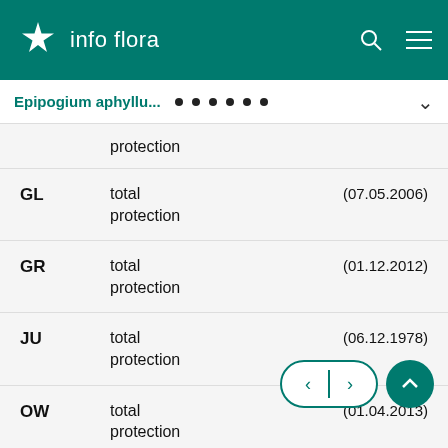info flora
Epipogium aphyllu... • • • • • •
| Code | Description | Date |
| --- | --- | --- |
|  | protection |  |
| GL | total protection | (07.05.2006) |
| GR | total protection | (01.12.2012) |
| JU | total protection | (06.12.1978) |
| OW | total protection | (01.04.2013) |